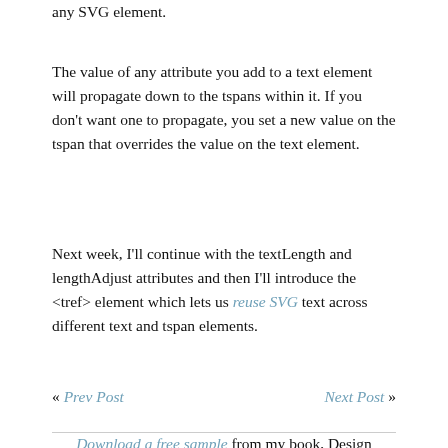any SVG element.
The value of any attribute you add to a text element will propagate down to the tspans within it. If you don't want one to propagate, you set a new value on the tspan that overrides the value on the text element.
Next week, I'll continue with the textLength and lengthAdjust attributes and then I'll introduce the <tref> element which lets us reuse SVG text across different text and tspan elements.
« Prev Post   Next Post »
Download a free sample from my book, Design Fundamentals.